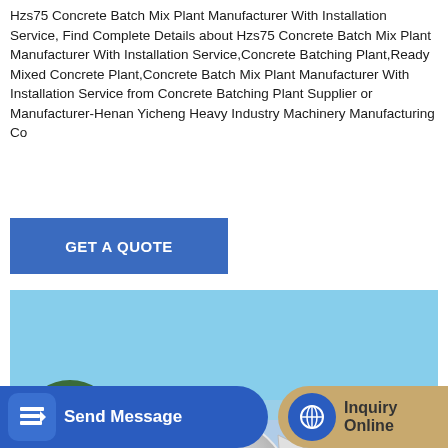Hzs75 Concrete Batch Mix Plant Manufacturer With Installation Service, Find Complete Details about Hzs75 Concrete Batch Mix Plant Manufacturer With Installation Service,Concrete Batching Plant,Ready Mixed Concrete Plant,Concrete Batch Mix Plant Manufacturer With Installation Service from Concrete Batching Plant Supplier or Manufacturer-Henan Yicheng Heavy Industry Machinery Manufacturing Co
[Figure (other): Blue button reading GET A QUOTE]
[Figure (photo): Photo of a Hzs75 concrete batch mix plant / concrete mixer machine, white and blue colored, with large rotating drum, against a clear blue sky with trees in background]
[Figure (other): Bottom UI bar with two buttons: 'Send Message' on blue background (left) and 'Inquiry Online' on tan/gold background (right), each with an icon]